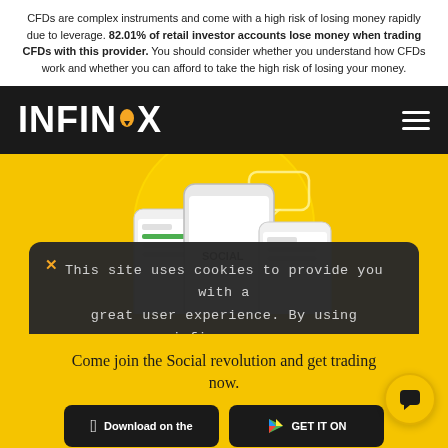CFDs are complex instruments and come with a high risk of losing money rapidly due to leverage. 82.01% of retail investor accounts lose money when trading CFDs with this provider. You should consider whether you understand how CFDs work and whether you can afford to take the high risk of losing your money.
[Figure (logo): INFINOX logo in white bold text on black background with orange dot, and hamburger menu icon on the right]
[Figure (illustration): Yellow background with illustrated smartphones showing social trading app interface and circular speech bubble graphics]
This site uses cookies to provide you with a great user experience. By using infinox.com, you accept our cookie policy.
Come join the Social revolution and get trading now.
[Figure (screenshot): Download on the App Store button (Apple) and GET IT ON Google Play button, both dark rounded rectangles]